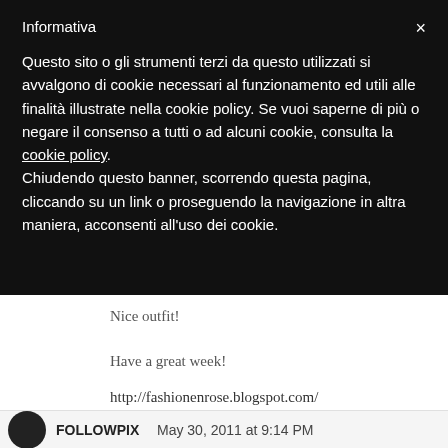Informativa
Questo sito o gli strumenti terzi da questo utilizzati si avvalgono di cookie necessari al funzionamento ed utili alle finalità illustrate nella cookie policy. Se vuoi saperne di più o negare il consenso a tutti o ad alcuni cookie, consulta la cookie policy. Chiudendo questo banner, scorrendo questa pagina, cliccando su un link o proseguendo la navigazione in altra maniera, acconsenti all'uso dei cookie.
Nice outfit!
Have a great week!
http://fashionenrose.blogspot.com/
Reply
FOLLOWPIX   May 30, 2011 at 9:14 PM